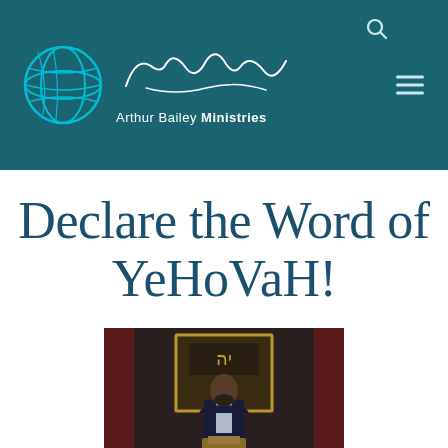[Figure (logo): Arthur Bailey Ministries logo with globe and signature on teal background header with search icon and hamburger menu]
Declare the Word of YeHoVaH!
[Figure (photo): A man in a dark suit with a bow tie standing at a podium in front of decorative backdrop with Hebrew letters]